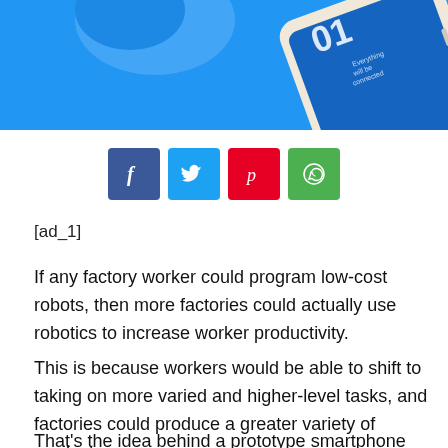[Figure (photo): Partial view of a smartphone with blue IoT-themed screen and light-colored phone body visible at top of page]
[Figure (infographic): Row of four social media share buttons: Facebook (dark blue, f icon), Twitter (light blue, bird icon), Pinterest (red, p icon), WhatsApp (green, phone icon)]
[ad_1]
If any factory worker could program low-cost robots, then more factories could actually use robotics to increase worker productivity.
This is because workers would be able to shift to taking on more varied and higher-level tasks, and factories could produce a greater variety of products.
That's the idea behind a prototype smartphone app Purdue